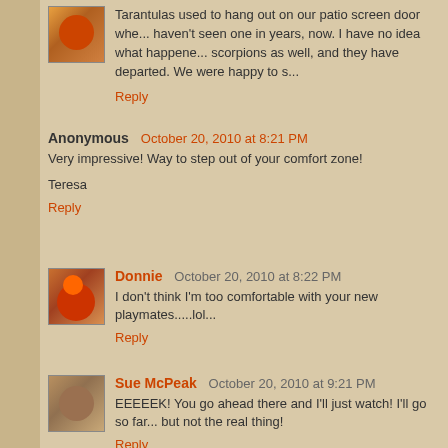Tarantulas used to hang out on our patio screen door whe... haven't seen one in years, now. I have no idea what happene... scorpions as well, and they have departed. We were happy to s...
Reply
Anonymous   October 20, 2010 at 8:21 PM
Very impressive! Way to step out of your comfort zone!
Teresa
Reply
Donnie   October 20, 2010 at 8:22 PM
I don't think I'm too comfortable with your new playmates.....lol...
Reply
Sue McPeak   October 20, 2010 at 9:21 PM
EEEEEK! You go ahead there and I'll just watch! I'll go so far... but not the real thing!
Reply